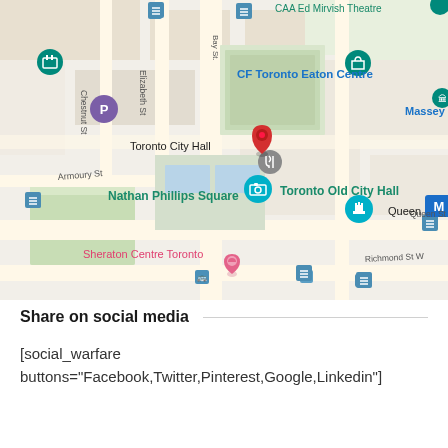[Figure (map): Google Maps screenshot showing downtown Toronto, Canada. Landmarks visible include CF Toronto Eaton Centre, Massey Hall, Toronto City Hall, Nathan Phillips Square, Toronto Old City Hall, Queen subway station, and Sheraton Centre Toronto. A red location pin is placed near Nathan Phillips Square.]
Share on social media
[social_warfare buttons="Facebook,Twitter,Pinterest,Google,Linkedin"]